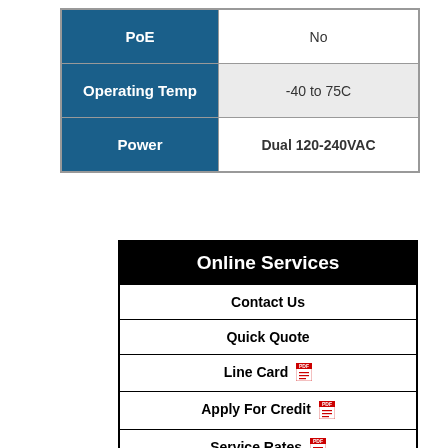| Property | Value |
| --- | --- |
| PoE | No |
| Operating Temp | -40 to 75C |
| Power | Dual 120-240VAC |
| Online Services |
| --- |
| Contact Us |
| Quick Quote |
| Line Card |
| Apply For Credit |
| Service Rates |
| Service Program |